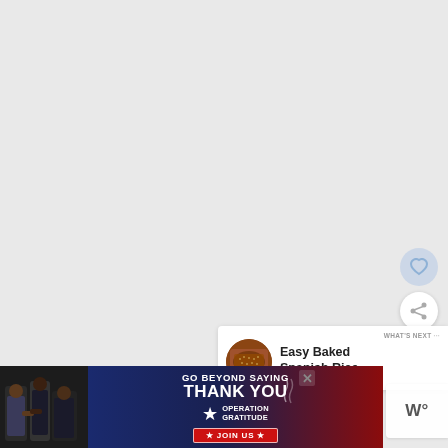[Figure (screenshot): Light gray webpage background area occupying most of the page]
[Figure (other): Heart/favorite circular button with light blue tint]
[Figure (other): Share circular button, white with shadow]
[Figure (other): Next post panel showing 'WHAT'S NEXT' label with thumbnail image of baked rice dish and title 'Easy Baked Spanish Rice']
[Figure (other): Advertisement banner at bottom: 'GO BEYOND SAYING THANK YOU' with Operation Gratitude logo and JOIN US button, showing military personnel photo on left]
[Figure (other): Weather widget showing 'W°' on right side]